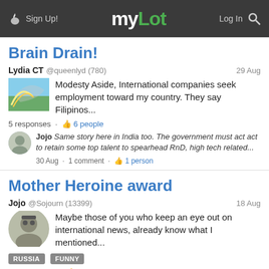myLot — Sign Up! / Log In
Brain Drain!
Lydia CT @queenlyd (780) · 29 Aug
Modesty Aside, International companies seek employment toward my country. They say Filipinos...
5 responses · 6 people
Jojo Same story here in India too. The government must act act to retain some top talent to spearhead RnD, high tech related...
30 Aug · 1 comment · 1 person
Mother Heroine award
Jojo @Sojourn (13399) · 18 Aug
Maybe those of you who keep an eye out on international news, already know what I mentioned...
RUSSIA FUNNY
12 responses · 10 people
Jojo Will a modern woman really would be willing bear so many children. Not to mention, the care giving and upbringing toils and...